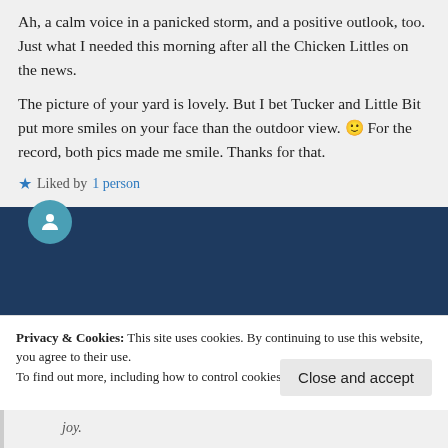Ah, a calm voice in a panicked storm, and a positive outlook, too. Just what I needed this morning after all the Chicken Littles on the news.

The picture of your yard is lovely. But I bet Tucker and Little Bit put more smiles on your face than the outdoor view. 🙂 For the record, both pics made me smile. Thanks for that.
Liked by 1 person
Joan Hall
Log in to Reply
March 26, 2020 at 08:25
Privacy & Cookies: This site uses cookies. By continuing to use this website, you agree to their use.
To find out more, including how to control cookies, see here: Cookie Policy
Close and accept
joy.